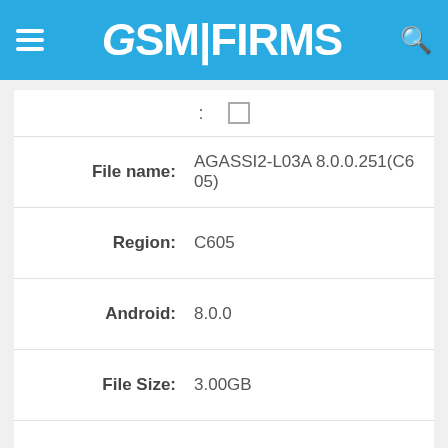GSM FIRMS
| Field | Value |
| --- | --- |
| File name: | AGASSI2-L03A 8.0.0.251(C605) |
| Region: | C605 |
| Android: | 8.0.0 |
| File Size: | 3.00GB |
| Price: | $2.00 |
Add to cart
Multiple CB Add Cart: